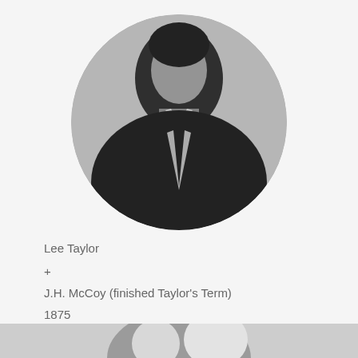[Figure (photo): Black and white circular portrait photograph of a person wearing a suit and tie, cropped to show upper body, set against a light gray background.]
Lee Taylor
+
J.H. McCoy (finished Taylor's Term)
1875
[Figure (photo): Partial black and white photograph visible at the bottom of the page, showing the top of another portrait.]